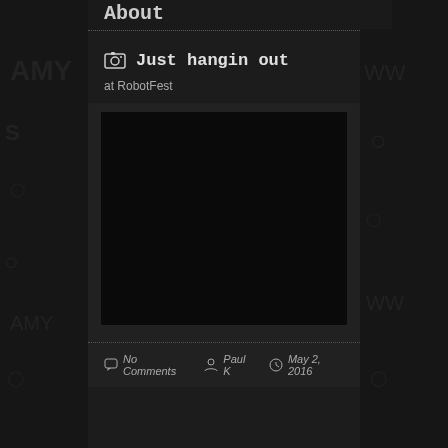About
Just hangin out
at RobotFest
[Figure (photo): A dark/black image placeholder representing a photo from RobotFest]
No Comments   Paul K   May 2, 2016